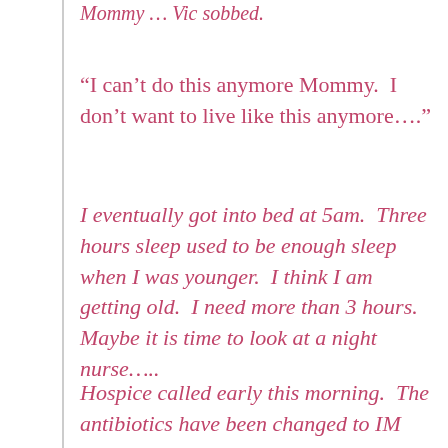“Mommy”… Vic sobbed.
“I can’t do this anymore Mommy.  I don’t want to live like this anymore….”
I eventually got into bed at 5am.  Three hours sleep used to be enough sleep when I was younger.  I think I am getting old.  I need more than 3 hours.  Maybe it is time to look at a night nurse…..
Hospice called early this morning.  The antibiotics have been changed to IM injections.  We cannot put up an IV drip.  Sr Siza told Vic she should be admitted to hospital to have the abscess lanced and